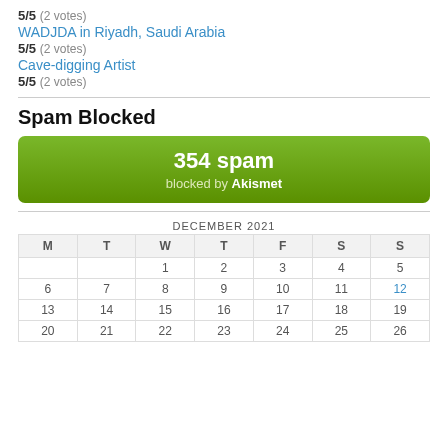5/5 (2 votes)
WADJDA in Riyadh, Saudi Arabia
5/5 (2 votes)
Cave-digging Artist
5/5 (2 votes)
Spam Blocked
[Figure (infographic): Green button showing 354 spam blocked by Akismet]
| M | T | W | T | F | S | S |
| --- | --- | --- | --- | --- | --- | --- |
|  |  | 1 | 2 | 3 | 4 | 5 |
| 6 | 7 | 8 | 9 | 10 | 11 | 12 |
| 13 | 14 | 15 | 16 | 17 | 18 | 19 |
| 20 | 21 | 22 | 23 | 24 | 25 | 26 |